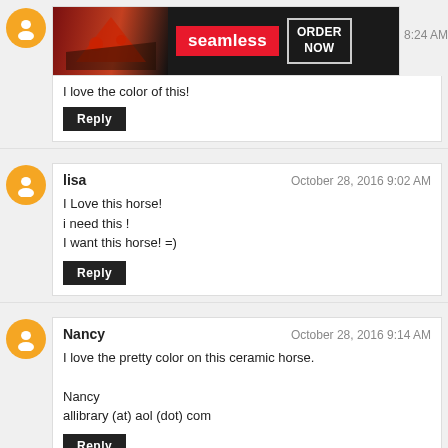[Figure (screenshot): Seamless food delivery advertisement banner showing pizza image, seamless logo in red, and ORDER NOW button]
8:24 AM
I love the color of this!
Reply
lisa
October 28, 2016 9:02 AM
I Love this horse!
i need this !
I want this horse! =)
Reply
Nancy
October 28, 2016 9:14 AM
I love the pretty color on this ceramic horse.

Nancy
allibrary (at) aol (dot) com
Reply